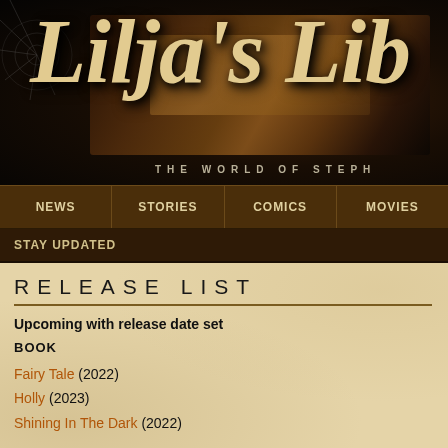[Figure (illustration): Lilja's Library website header banner showing large decorative text 'Lilja's Lib' (truncated) in cream/gold serif font against a dark atmospheric background with bookshelf and subtle subtitle 'THE WORLD OF STEPH']
NEWS | STORIES | COMICS | MOVIES
STAY UPDATED
RELEASE LIST
Upcoming with release date set
BOOK
Fairy Tale (2022)
Holly (2023)
Shining In The Dark (2022)